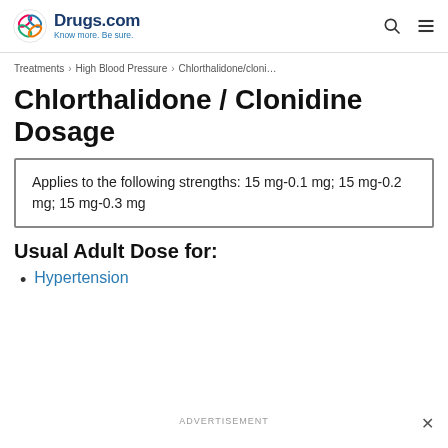Drugs.com — Know more. Be sure.
Treatments > High Blood Pressure > Chlorthalidone/cloni...
Chlorthalidone / Clonidine Dosage
Applies to the following strengths: 15 mg-0.1 mg; 15 mg-0.2 mg; 15 mg-0.3 mg
Usual Adult Dose for:
Hypertension